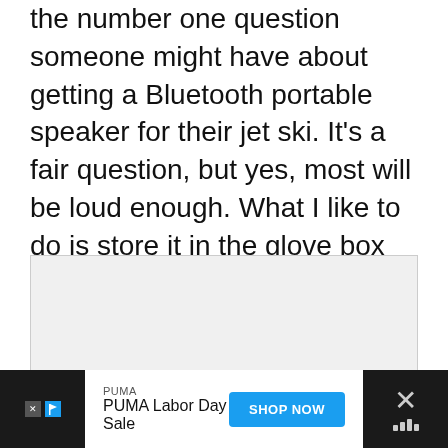the number one question someone might have about getting a Bluetooth portable speaker for their jet ski. It's a fair question, but yes, most will be loud enough. What I like to do is store it in the glove box which acts as an echo chamber to help keep it loud and away from the elements.
[Figure (photo): Image placeholder area with light gray background, appears to be a carousel with navigation dots below]
PUMA | PUMA Labor Day Sale | SHOP NOW (advertisement banner)